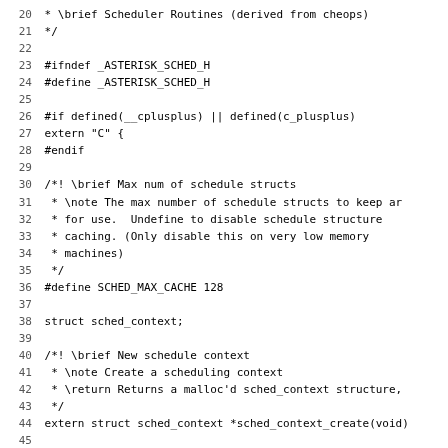[Figure (screenshot): Source code listing (C header file) with line numbers 20-51, showing scheduler routines include file for Asterisk, with preprocessor guards, struct declaration, and function prototypes.]